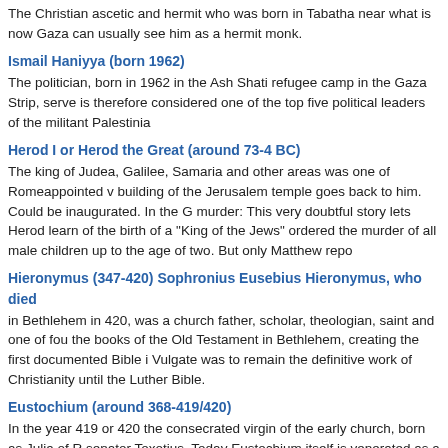The Christian ascetic and hermit who was born in Tabatha near what is now Gaza can usually see him as a hermit monk.
Ismail Haniyya (born 1962)
The politician, born in 1962 in the Ash Shati refugee camp in the Gaza Strip, served is therefore considered one of the top five political leaders of the militant Palestinia...
Herod I or Herod the Great (around 73-4 BC)
The king of Judea, Galilee, Samaria and other areas was one of Romeappointed v... building of the Jerusalem temple goes back to him. Could be inaugurated. In the G... murder: This very doubtful story lets Herod learn of the birth of a "King of the Jews"... ordered the murder of all male children up to the age of two. But only Matthew repo...
Hieronymus (347-420) Sophronius Eusebius Hieronymus, who died
in Bethlehem in 420, was a church father, scholar, theologian, saint and one of fou... the books of the Old Testament in Bethlehem, creating the first documented Bible i... Vulgate was to remain the definitive work of Christianity until the Luther Bible.
Eustochium (around 368-419/420)
In the year 419 or 420 the consecrated virgin of the early church, born as Julia of R... senator Toxotius. Today Eustochium itself is venerated as a saint. She once came t... exists today. Her grave lies below the Church of the Nativity, together with that of P...
J esus Christ
Jesus Christ, the anointed one, which was revealed for the salvation of all people c... Son of God. His name unites the faith of the early Christians, who projected the sal... Nazareth. Jesus is said to have been born in Bethlehem - at the point where today'... holiest places in all of Christianity.